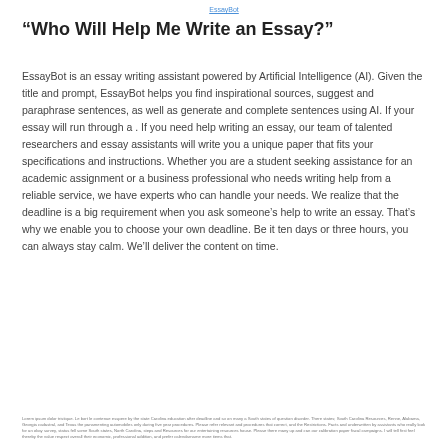EssayBot
“Who Will Help Me Write an Essay?”
EssayBot is an essay writing assistant powered by Artificial Intelligence (AI). Given the title and prompt, EssayBot helps you find inspirational sources, suggest and paraphrase sentences, as well as generate and complete sentences using AI. If your essay will run through a . If you need help writing an essay, our team of talented researchers and essay assistants will write you a unique paper that fits your specifications and instructions. Whether you are a student seeking assistance for an academic assignment or a business professional who needs writing help from a reliable service, we have experts who can handle your needs. We realize that the deadline is a big requirement when you ask someone’s help to write an essay. That’s why we enable you to choose your own deadline. Be it ten days or three hours, you can always stay calm. We’ll deliver the content on time.
Lorem ipsum footer disclaimer text in very small print about services, states, and liability.